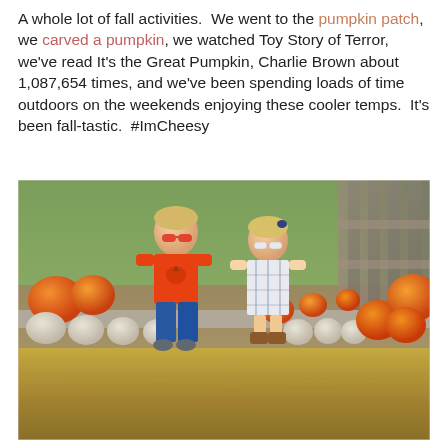A whole lot of fall activities.  We went to the pumpkin patch, we carved a pumpkin, we watched Toy Story of Terror, we've read It's the Great Pumpkin, Charlie Brown about 1,087,654 times, and we've been spending loads of time outdoors on the weekends enjoying these cooler temps.  It's been fall-tastic.  #ImCheesy
[Figure (photo): Two young children sitting on a low ledge at a pumpkin patch. The boy on the left wears an orange pumpkin shirt, jeans, and red sunglasses. The girl on the right wears a white plaid dress, brown boots, and white sunglasses. They are surrounded by orange and white pumpkins. The background shows greenery, a wooden fence structure, and hay on the ground.]